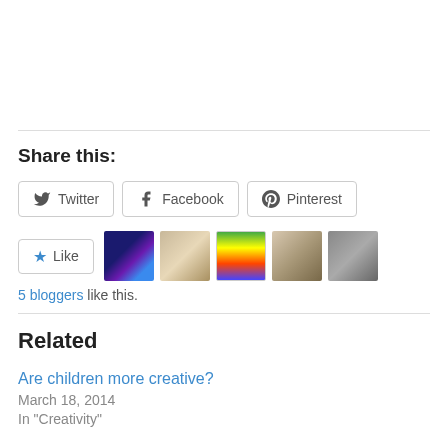Share this:
Twitter  Facebook  Pinterest
[Figure (other): Like button with star icon and 5 blogger avatar thumbnails]
5 bloggers like this.
Related
Are children more creative?
March 18, 2014
In "Creativity"